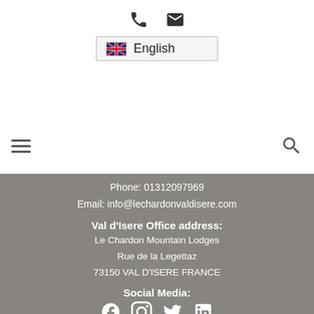[Figure (screenshot): Top navigation bar with phone icon, email icon, and English language selector with UK flag]
[Figure (screenshot): Navigation bar with hamburger menu icon on left and search icon on right]
Phone: 01312097969
Email: info@lechardonvaldisere.com
Val d'Isere Office address:
Le Chardon Mountain Lodges
Rue de la Legettaz
73150 VAL D'ISERE FRANCE
Social Media:
[Figure (screenshot): Social media icons: Facebook, Instagram, Twitter, LinkedIn]